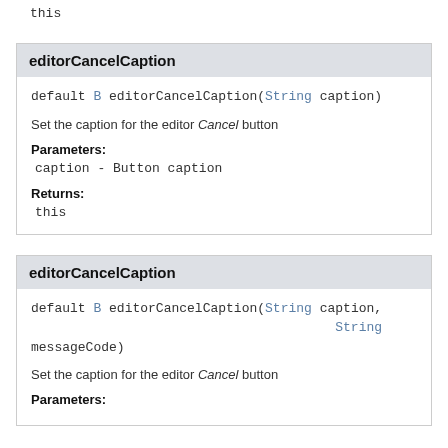this
editorCancelCaption
default B editorCancelCaption(String caption)
Set the caption for the editor Cancel button
Parameters:
caption - Button caption
Returns:
this
editorCancelCaption
default B editorCancelCaption(String caption, String messageCode)
Set the caption for the editor Cancel button
Parameters: